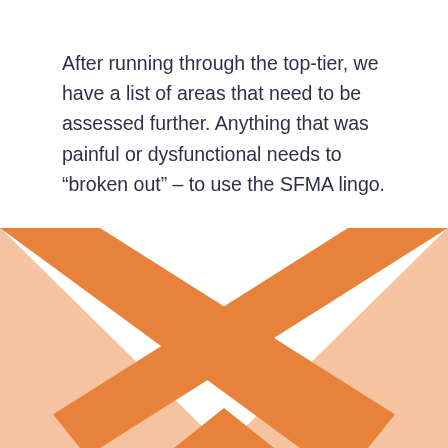After running through the top-tier, we have a list of areas that need to be assessed further. Anything that was painful or dysfunctional needs to “broken out” – to use the SFMA lingo.
[Figure (illustration): Decorative geometric design at bottom of page: two large overlapping triangles forming an X/hourglass shape. Left and right outer triangles are light salmon/peach color, center overlapping diamond area is darker orange.]